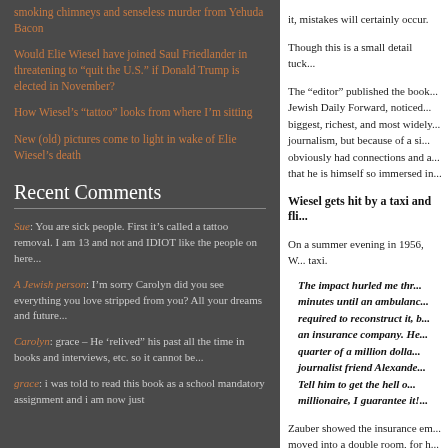smoking chimneys and senseless murder from Yehuda Bacon
Would Elie Wiesel have joined Saul Friedlander in threatening to "quit the U.S." if Donald Trump is elected in November?
How Wiesel's “tattoo” looks from where I’m sitting
New (old) pictures come to light in wake of Elie Wiesel’s death
Recent Comments
Sue: You are sick people. First it’s called a tattoo removal. I am 13 and not and IDIOT like the people on here...
A Jewish person: I’m sorry Carolyn did you see everything you love stripped from you? All your dreams and future...
Carolyn: grace – He ‘relived” his past all the time in books and interviews, etc. so it cannot be...
grace: i was told to read this book as a school mandatory assignment and i am now just
it, mistakes will certainly occur.
Though this is a small detail tuck...
The “editor” published the book... Jewish Daily Forward, noticed... biggest, richest, and most widely... journalism, but because of a si... obviously had connections and a... that he is himself so immersed in...
Wiesel gets hit by a taxi and fli...
On a summer evening in 1956, W... taxi.
The impact hurled me thr... minutes until an ambulanc... required to reconstruct it, b... an insurance company. He... quarter of a million dolla... journalist friend Alexande... Tell him to get the hell o... millionaire, I guarantee it!...
Zauber showed the insurance em... moved into a double room, for h... panicked me.” With the immedi... that night, after Zauber had gone...
I had forgotten to allow fo...